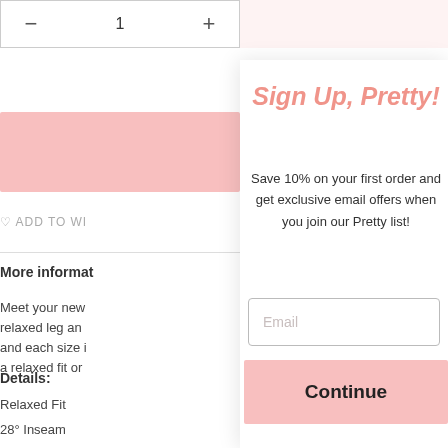— 1 +
ADD TO WI...
More informat...
Meet your new... relaxed leg an... and each size... a relaxed fit or...
Details:
Relaxed Fit
28° Inseam
Sign Up, Pretty!
Save 10% on your first order and get exclusive email offers when you join our Pretty list!
Email
Continue